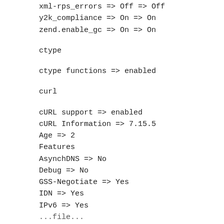xml-rps_errors => Off => Off
y2k_compliance => On => On
zend.enable_gc => On => On
ctype
ctype functions => enabled
curl
cURL support => enabled
cURL Information => 7.15.5
Age => 2
Features
AsynchDNS => No
Debug => No
GSS-Negotiate => Yes
IDN => Yes
IPv6 => Yes
...file...